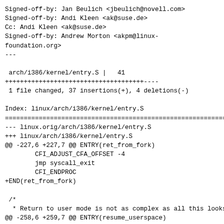Signed-off-by: Jan Beulich <jbeulich@novell.com>
Signed-off-by: Andi Kleen <ak@suse.de>
Cc: Andi Kleen <ak@suse.de>
Signed-off-by: Andrew Morton <akpm@linux-foundation.org>
---

 arch/i386/kernel/entry.S |   41
+++++++++++++++++++++++++++++++++++++----
 1 file changed, 37 insertions(+), 4 deletions(-)

Index: linux/arch/i386/kernel/entry.S
================================================================
--- linux.orig/arch/i386/kernel/entry.S
+++ linux/arch/i386/kernel/entry.S
@@ -227,6 +227,7 @@ ENTRY(ret_from_fork)
        CFI_ADJUST_CFA_OFFSET -4
        jmp syscall_exit
        CFI_ENDPROC
+END(ret_from_fork)

 /*
  * Return to user mode is not as complex as all this looks,
@@ -258,6 +259,7 @@ ENTRY(resume_userspace)
                                           # int/exception return?
        jne work_pending
        jmp restore_all